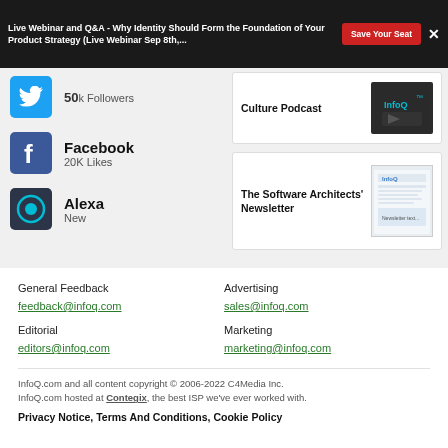Live Webinar and Q&A - Why Identity Should Form the Foundation of Your Product Strategy (Live Webinar Sep 8th,...
50k Followers
Facebook
20K Likes
Alexa
New
[Figure (screenshot): Culture Podcast card with InfoQ logo]
[Figure (screenshot): The Software Architects' Newsletter card with InfoQ newsletter image]
General Feedback
feedback@infoq.com
Advertising
sales@infoq.com
Editorial
editors@infoq.com
Marketing
marketing@infoq.com
InfoQ.com and all content copyright © 2006-2022 C4Media Inc. InfoQ.com hosted at Contegix, the best ISP we've ever worked with.
Privacy Notice, Terms And Conditions, Cookie Policy